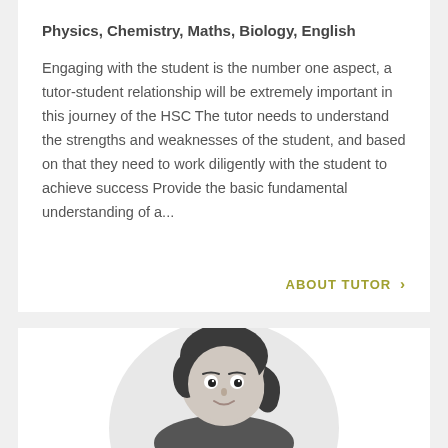Physics, Chemistry, Maths, Biology, English
Engaging with the student is the number one aspect, a tutor-student relationship will be extremely important in this journey of the HSC The tutor needs to understand the strengths and weaknesses of the student, and based on that they need to work diligently with the student to achieve success Provide the basic fundamental understanding of a...
ABOUT TUTOR >
[Figure (illustration): Cartoon illustration of a female tutor with dark short hair, smiling, shown from the shoulders up inside a light gray circular background.]